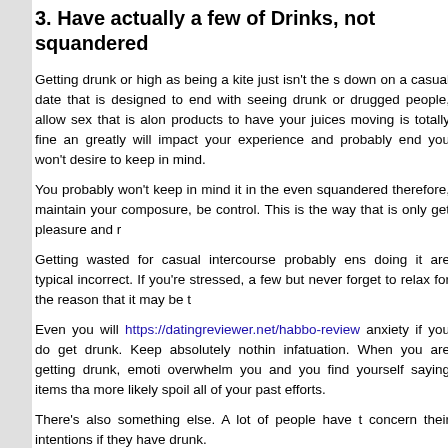3.  Have actually a few of Drinks, not squandered
Getting drunk or high as being a kite just isn't the s... down on a casual date that is designed to end with... seeing drunk or drugged people, allow sex that is alo... products to have your juices moving is totally fine an... greatly will impact your experience and probably end... you won't desire to keep in mind.
You probably won't keep in mind it in the eve... squandered therefore, maintain your composure, be... control. This is the way that is only get pleasure and r...
Getting wasted for casual intercourse probably ens... doing it are typical incorrect. If you're stressed, a few... but never forget to relax for the reason that it may be t...
Even you will https://datingreviewer.net/habbo-review... anxiety if you do get drunk. Keep absolutely nothin... infatuation. When you are getting drunk, emoti... overwhelm you and you find yourself saying items tha... more likely spoil all of your past efforts.
There's also something else. A lot of people have t... concern their intentions if they have drunk.